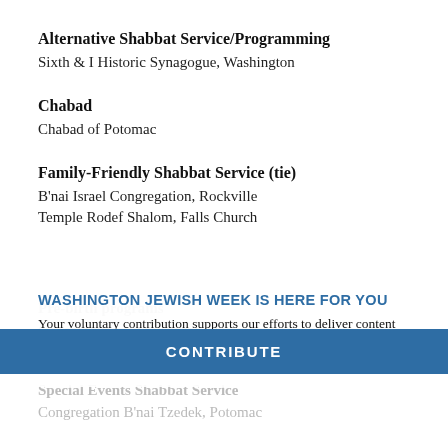Alternative Shabbat Service/Programming
Sixth & I Historic Synagogue, Washington
Chabad
Chabad of Potomac
Family-Friendly Shabbat Service (tie)
B'nai Israel Congregation, Rockville
Temple Rodef Shalom, Falls Church
Pre-birth programs
Congregation B'nai Tzedek, Potomac
WASHINGTON JEWISH WEEK IS HERE FOR YOU
Your voluntary contribution supports our efforts to deliver content that engages and helps strengthen the Jewish community in the DMV.
CONTRIBUTE
Special Events Shabbat Service
Congregation B'nai Tzedek, Potomac